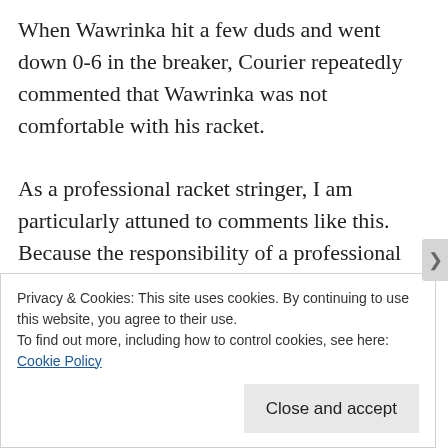When Wawrinka hit a few duds and went down 0-6 in the breaker, Courier repeatedly commented that Wawrinka was not comfortable with his racket.

As a professional racket stringer, I am particularly attuned to comments like this. Because the responsibility of a professional racket stringer is to install the player's string accurately and consistently, any suggestion that the racket is not “right” is a suggestion
Privacy & Cookies: This site uses cookies. By continuing to use this website, you agree to their use.
To find out more, including how to control cookies, see here: Cookie Policy